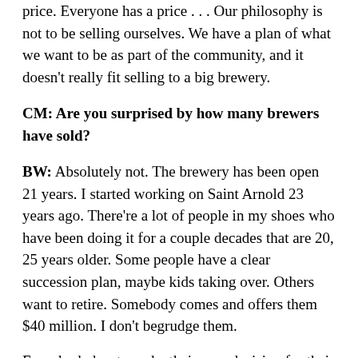price. Everyone has a price . . . Our philosophy is not to be selling ourselves. We have a plan of what we want to be as part of the community, and it doesn't really fit selling to a big brewery.
CM: Are you surprised by how many brewers have sold?
BW: Absolutely not. The brewery has been open 21 years. I started working on Saint Arnold 23 years ago. There're a lot of people in my shoes who have been doing it for a couple decades that are 20, 25 years older. Some people have a clear succession plan, maybe kids taking over. Others want to retire. Somebody comes and offers them $40 million. I don't begrudge them.
Everybody has to make their own decision for their own